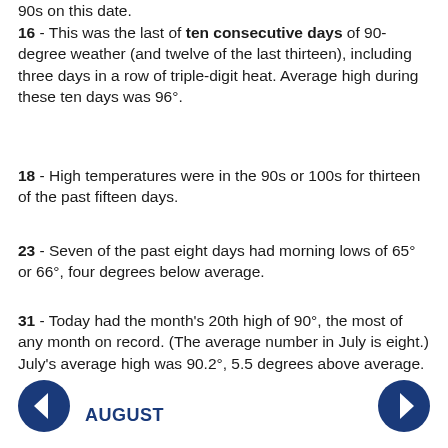90s on this date.
16 - This was the last of ten consecutive days of 90-degree weather (and twelve of the last thirteen), including three days in a row of triple-digit heat.  Average high during these ten days was 96°.
18 - High temperatures were in the 90s or 100s for thirteen of the past fifteen days.
23 - Seven of the past eight days had morning lows of 65° or 66°, four degrees below average.
31 - Today had the month's 20th high of 90°, the most of any month on record.  (The average number in July is eight.)  July's average high was 90.2°, 5.5 degrees above average.
AUGUST